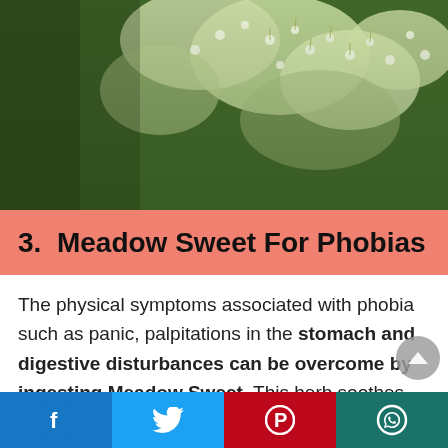[Figure (photo): Close-up photo of Meadow Sweet plant with small white flowers and green leaves]
3. Meadow Sweet For Phobias
The physical symptoms associated with phobia such as panic, palpitations in the stomach and digestive disturbances can be overcome by ingesting Meadow Sweet. This herb soothes the stomach and relieves feelings of anxiety and tension. It also helps in releasing fears and helping a person to feel more relaxed yet alert.
[Figure (infographic): Social media share bar with Facebook, Twitter, Pinterest, and WhatsApp buttons]